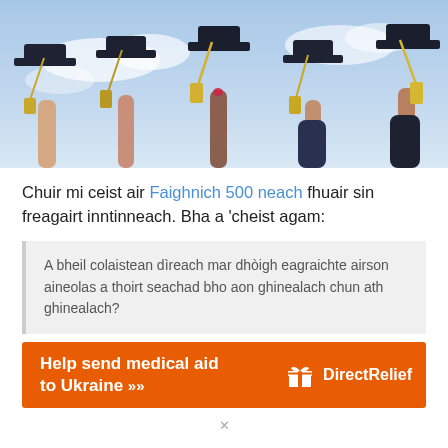[Figure (photo): Multiple hands raised holding graduation caps (mortarboards) with gold tassels against a blue sky with clouds]
Chuir mi ceist air Faighnich 500 neach fhuair sin freagairt inntinneach. Bha a 'cheist agam:
A bheil colaistean dìreach mar dhòigh eagraichte airson aineolas a thoirt seachad bho aon ghinealach chun ath ghinealach?
[Figure (infographic): Orange advertisement banner: 'Help send medical aid to Ukraine >>' with Direct Relief logo on the right]